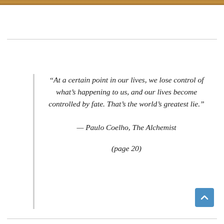[Figure (photo): Partial image strip at top of page, appearing to show a person or scene in warm tones]
“At a certain point in our lives, we lose control of what’s happening to us, and our lives become controlled by fate. That’s the world’s greatest lie.”

— Paulo Coelho, The Alchemist

(page 20)